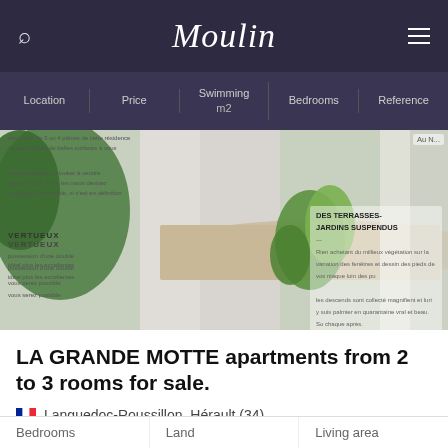Moulin
Location | Price | Swimming pool | Bedrooms | Reference
[Figure (photo): Architectural rendering of a modern apartment building with terraced gardens and green vegetation in La Grande Motte]
LA GRANDE MOTTE apartments from 2 to 3 rooms for sale.
Languedoc-Roussillon, Hérault (34)
€655,000
| Bedrooms | Land | Living area |
| --- | --- | --- |